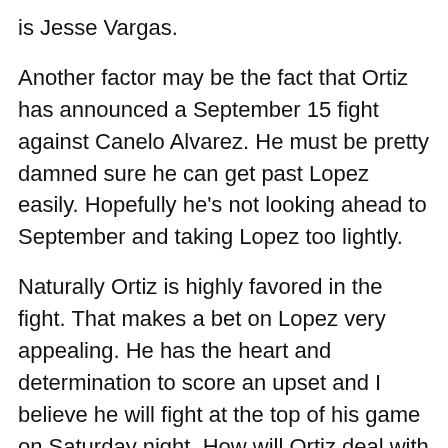is Jesse Vargas.
Another factor may be the fact that Ortiz has announced a September 15 fight against Canelo Alvarez. He must be pretty damned sure he can get past Lopez easily. Hopefully he’s not looking ahead to September and taking Lopez too lightly.
Naturally Ortiz is highly favored in the fight. That makes a bet on Lopez very appealing. He has the heart and determination to score an upset and I believe he will fight at the top of his game on Saturday night. How will Ortiz deal with the pressure if Lopez stays in his face and roughs him up? That remains to be seen.
Lopez has the opportunity of a lifetime in front of him and it will be interesting to see if he can rise to the